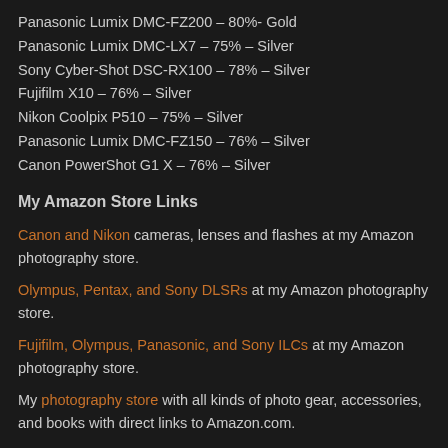Panasonic Lumix DMC-FZ200 – 80%- Gold
Panasonic Lumix DMC-LX7 – 75% – Silver
Sony Cyber-Shot DSC-RX100 – 78% – Silver
Fujifilm X10 – 76% – Silver
Nikon Coolpix P510 – 75% – Silver
Panasonic Lumix DMC-FZ150 – 76% – Silver
Canon PowerShot G1 X – 76% – Silver
My Amazon Store Links
Canon and Nikon cameras, lenses and flashes at my Amazon photography store.
Olympus, Pentax, and Sony DLSRs at my Amazon photography store.
Fujifilm, Olympus, Panasonic, and Sony ILCs at my Amazon photography store.
My photography store with all kinds of photo gear, accessories, and books with direct links to Amazon.com.